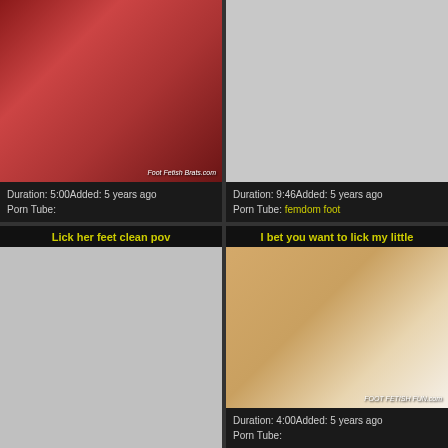[Figure (screenshot): Video thumbnail showing two women on a bed with pink bedding, watermark 'Foot Fetish Brats.com']
Duration: 5:00Added: 5 years ago
Porn Tube:
[Figure (screenshot): Gray placeholder thumbnail for video]
Duration: 9:46Added: 5 years ago
Porn Tube: femdom foot
Lick her feet clean pov
[Figure (screenshot): Gray placeholder thumbnail for video]
I bet you want to lick my little
[Figure (screenshot): Video thumbnail showing a woman lying on white bed, watermark 'FOOT FETISH FUN.com']
Duration: 4:00Added: 5 years ago
Porn Tube: